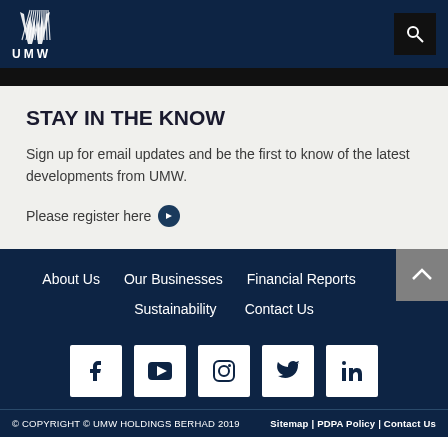UMW
STAY IN THE KNOW
Sign up for email updates and be the first to know of the latest developments from UMW.
Please register here →
About Us   Our Businesses   Financial Reports   Sustainability   Contact Us
[Figure (other): Social media icons: Facebook, YouTube, Instagram, Twitter, LinkedIn]
© COPYRIGHT © UMW HOLDINGS BERHAD 2019   Sitemap | PDPA Policy | Contact Us